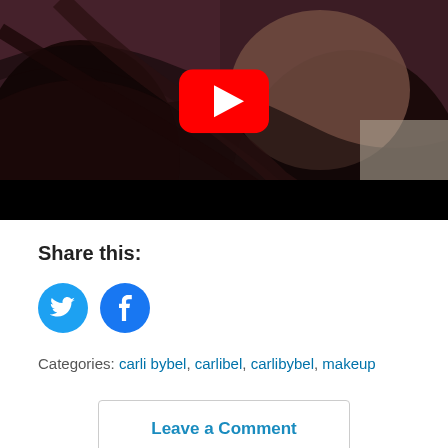[Figure (screenshot): YouTube video thumbnail showing a woman with long dark hair and blue/green eyes, wearing a light pink top. A red YouTube play button overlay is centered in the upper portion of the image. The bottom of the video frame has a black bar.]
Share this:
[Figure (infographic): Two circular social media share buttons: Twitter (blue bird icon) and Facebook (blue 'f' icon)]
Categories: carli bybel, carlibel, carlibybel, makeup
Leave a Comment